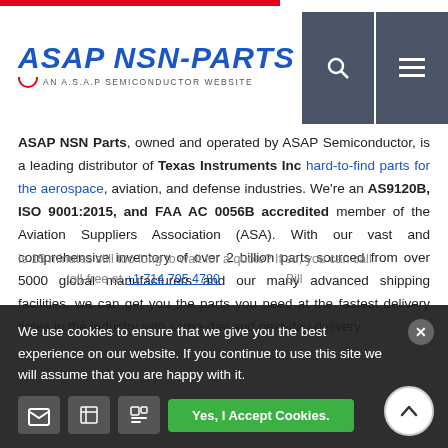[Figure (logo): ASAP NSN-PARTS logo with airplane icon and 'AN A.S.A.P SEMICONDUCTOR WEBSITE' tagline]
ASAP NSN Parts, owned and operated by ASAP Semiconductor, is a leading distributor of Texas Instruments Inc hard-to-find parts for the aerospace, aviation, and defense industries. We're an AS9120B, ISO 9001:2015, and FAA AC 0056B accredited member of the Aviation Suppliers Association (ASA). With our vast and comprehensive inventory of over 2 billion parts sourced from over 5000 global manufacturers and our many advanced shipping facilities, we can get you the parts you need at the fastest delivery times in the industry with same-day and next-day delivery.
Is 15 minutes still too long to wait for a quote? If so, you can call toll-free at +1 714 705 4780 to speak to a Bill...
We use cookies to ensure that we give you the best experience on our website. If you continue to use this site we will assume that you are happy with it.